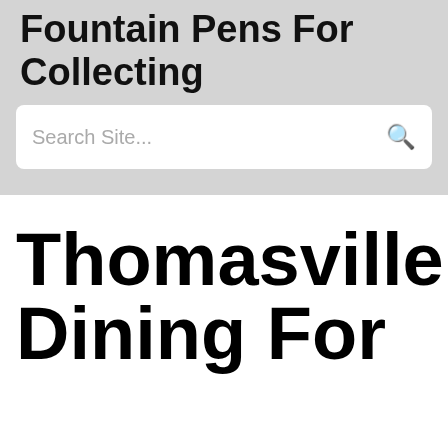Fountain Pens For Collecting
Search Site...
Thomasville Dining For